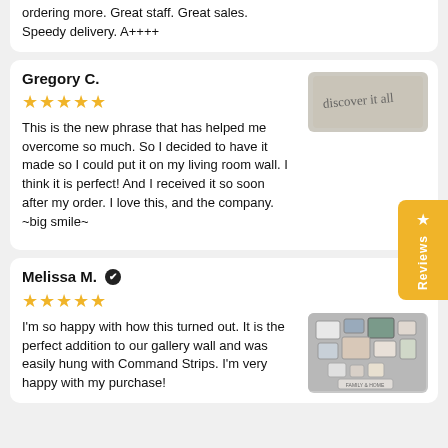ordering more. Great staff. Great sales. Speedy delivery. A++++
Gregory C.
★★★★★
[Figure (photo): Handwritten cursive text on light background]
This is the new phrase that has helped me overcome so much.  So I decided to have it made so I could put it on my living room wall.  I think it is perfect!  And I received it so soon after my order.  I love this, and the company.  ~big smile~
Melissa M. ✔
★★★★★
[Figure (photo): Gallery wall with multiple framed photos and a custom sign]
I'm so happy with how this turned out. It is the perfect addition to our gallery wall and was easily hung with Command Strips. I'm very happy with my purchase!